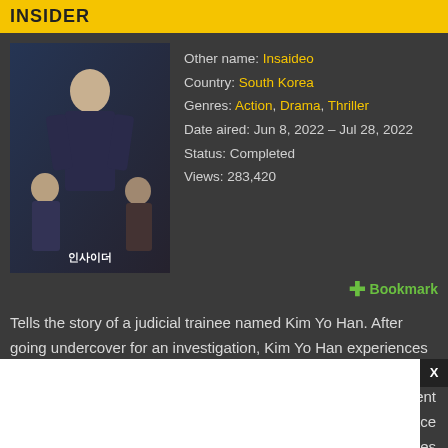INSIDER
[Figure (photo): Poster for Korean drama Insider (인사이더) showing a man in uniform with others, dark blue tones]
Other name: Insaideo
Country: South Korea
Genres: Action, Drama, Thriller
Date aired: Jun 8, 2022 – Jul 28, 2022
Status: Completed
Views: 283,420
+ Bookmark
Tells the story of a judicial trainee named Kim Yo Han. After going undercover for an investigation, Kim Yo Han experiences a crisis t will udent r face omes ation, h his